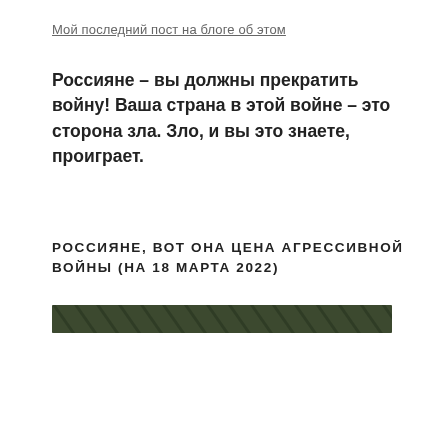Мой последний пост на блоге об этом
Россияне – вы должны прекратить войну! Ваша страна в этой войне – это сторона зла. Зло, и вы это знаете, проиграет.
РОССИЯНЕ, ВОТ ОНА ЦЕНА АГРЕССИВНОЙ ВОЙНЫ (НА 18 МАРТА 2022)
[Figure (other): Dark olive green horizontal bar/banner image]